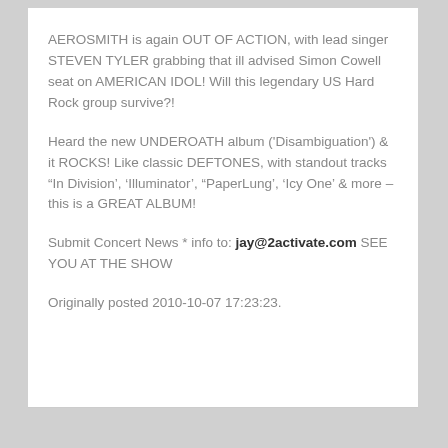AEROSMITH is again OUT OF ACTION, with lead singer STEVEN TYLER grabbing that ill advised Simon Cowell seat on AMERICAN IDOL! Will this legendary US Hard Rock group survive?!
Heard the new UNDEROATH album ('Disambiguation') & it ROCKS! Like classic DEFTONES, with standout tracks “In Division’, ‘Illuminator’, “PaperLung’, ‘Icy One’ & more – this is a GREAT ALBUM!
Submit Concert News * info to: jay@2activate.com SEE YOU AT THE SHOW
Originally posted 2010-10-07 17:23:23.